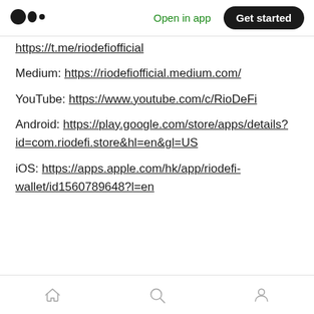Medium logo | Open in app | Get started
https://t.me/riodefiofficial
Medium: https://riodefiofficial.medium.com/
YouTube: https://www.youtube.com/c/RioDeFi
Android: https://play.google.com/store/apps/details?id=com.riodefi.store&hl=en&gl=US
iOS: https://apps.apple.com/hk/app/riodefi-wallet/id1560789648?l=en
Home | Search | Profile